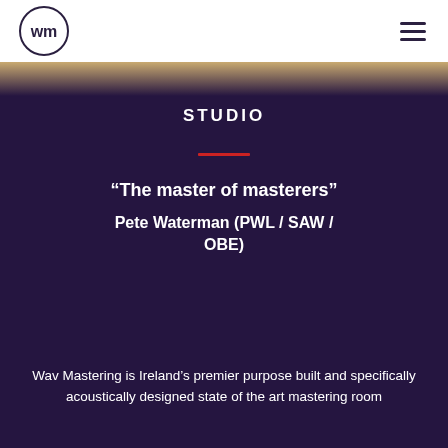WM logo and navigation menu
[Figure (photo): Partial photo strip showing people, transitioning into dark purple background]
STUDIO
“The master of masterers” Pete Waterman (PWL / SAW / OBE)
Wav Mastering is Ireland’s premier purpose built and specifically acoustically designed state of the art mastering room